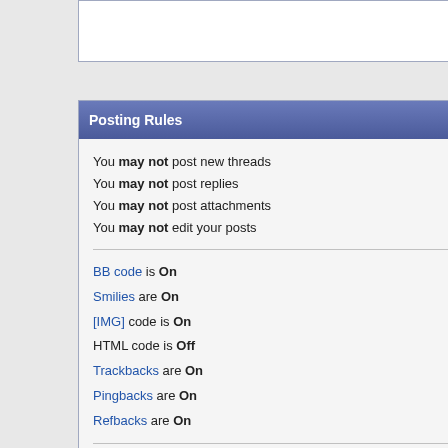Posting Rules
You may not post new threads
You may not post replies
You may not post attachments
You may not edit your posts
BB code is On
Smilies are On
[IMG] code is On
HTML code is Off
Trackbacks are On
Pingbacks are On
Refbacks are On
Forum Rules
Similar Threads
| Thread | Thread Starter | Forum | Replies | Last Post |
| --- | --- | --- | --- | --- |
| Used PT Gen 1 Headlamp Assemblies | soonercruiser | PT Pass It On | 1 | 06 May 2019 09:53 am |
| How do I replace the headl... | thatsmrjptou | Exterior Accessories Forum | 2 | 20 May 2010... |